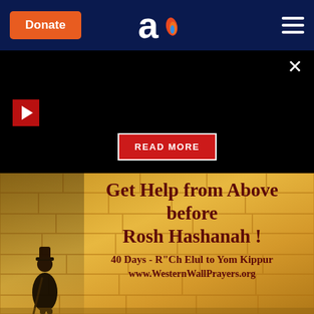Donate | [logo] | [menu]
[Figure (screenshot): Black banner section with a red play button on the left, a close X button top right, and a red READ MORE button in the lower center area]
[Figure (illustration): Advertisement banner showing the Western Wall in golden tones with a silhouette of a man with a cane/hat standing on the left. Text reads: Get Help from Above before Rosh Hashanah! 40 Days - R"Ch Elul to Yom Kippur www.WesternWallPrayers.org]